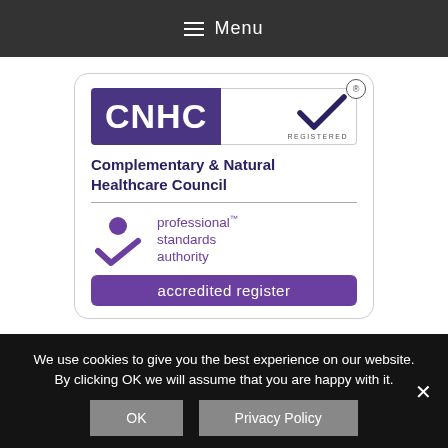≡ Menu
[Figure (logo): CNHC (Complementary & Natural Healthcare Council) registered logo with checkmark and Professional Standards Authority accredited register badge]
We use cookies to give you the best experience on our website. By clicking OK we will assume that you are happy with it.
OK   Privacy Policy